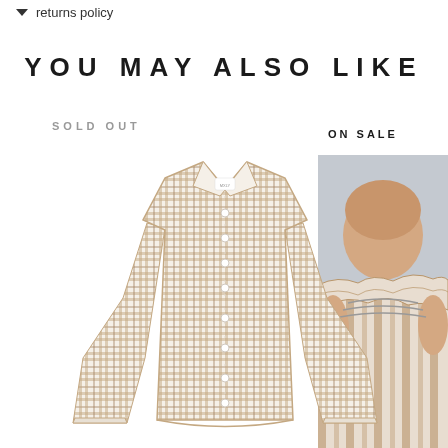returns policy
YOU MAY ALSO LIKE
SOLD OUT
[Figure (photo): A plaid/checkered button-up shirt in tan and cream tones with long sleeves, laid flat on white background. Product photo marked as SOLD OUT.]
ON SALE
[Figure (photo): Partial view of a model wearing a ruffled/smocked off-shoulder top in a brown and cream striped pattern. Product photo marked as ON SALE. Right side of page, partially cropped.]